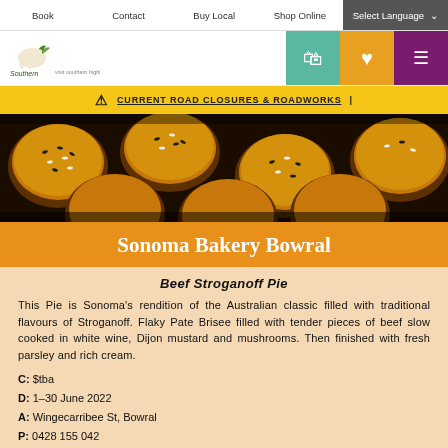Book | Contact | Buy Local | Shop Online | Select Language
[Figure (logo): Southern Highlands logo with horse icon]
CURRENT ROAD CLOSURES & ROADWORKS |
[Figure (photo): Close-up photo of seeded pies/pastries with golden sesame-topped crusts]
Sonoma Bakery Bowral
Beef Stroganoff Pie
This Pie is Sonoma's rendition of the Australian classic filled with traditional flavours of Stroganoff. Flaky Pate Brisee filled with tender pieces of beef slow cooked in white wine, Dijon mustard and mushrooms. Then finished with fresh parsley and rich cream.
C: $tba
D: 1–30 June 2022
A: Wingecarribee St, Bowral
P: 0428 155 042